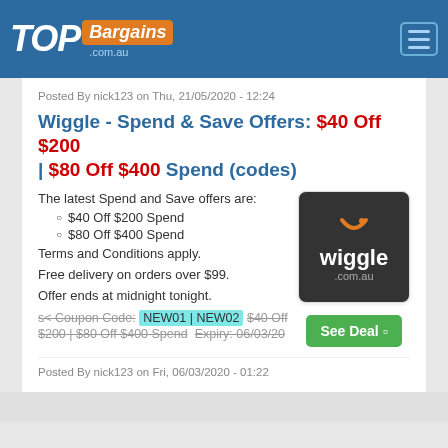TOP Bargains .com.au
Posted By nick123 on Thu, 21/05/2020 - 12:24
Wiggle - Spend & Save Offers: $40 Off $200 | $80 Off $400 Spend (codes)
The latest Spend and Save offers are:
$40 Off $200 Spend
$80 Off $400 Spend
Terms and Conditions apply.
Free delivery on orders over $99.
Offer ends at midnight tonight.
[Figure (logo): Wiggle .com.au logo — dark background with orange smile icon and white 'wiggle' text]
See Deal
s< Coupon Code: NEW01 | NEW02  $40 Off $200 | $80 Off $400 Spend   Expiry: 06/03/20
Posted By nick123 on Fri, 06/03/2020 - 01:22